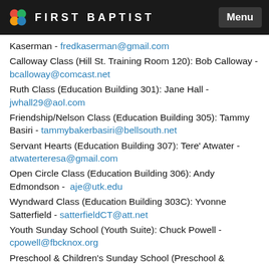FIRST BAPTIST | Menu
Kaserman - fredkaserman@gmail.com
Calloway Class (Hill St. Training Room 120): Bob Calloway - bcalloway@comcast.net
Ruth Class (Education Building 301): Jane Hall - jwhall29@aol.com
Friendship/Nelson Class (Education Building 305): Tammy Basiri - tammybakerbasiri@bellsouth.net
Servant Hearts (Education Building 307): Tere' Atwater - atwaterteresa@gmail.com
Open Circle Class (Education Building 306): Andy Edmondson - aje@utk.edu
Wyndward Class (Education Building 303C): Yvonne Satterfield - satterfieldCT@att.net
Youth Sunday School (Youth Suite): Chuck Powell - cpowell@fbcknox.org
Preschool & Children's Sunday School (Preschool &